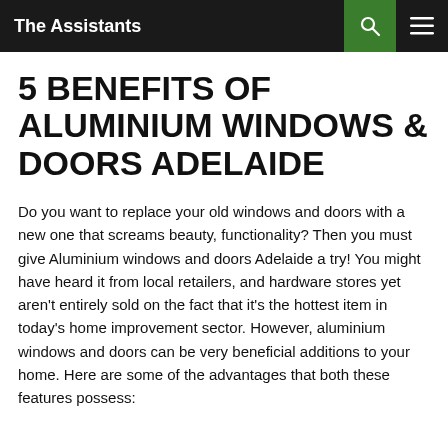The Assistants
5 BENEFITS OF ALUMINIUM WINDOWS & DOORS ADELAIDE
Do you want to replace your old windows and doors with a new one that screams beauty, functionality? Then you must give Aluminium windows and doors Adelaide a try! You might have heard it from local retailers, and hardware stores yet aren't entirely sold on the fact that it's the hottest item in today's home improvement sector. However, aluminium windows and doors can be very beneficial additions to your home. Here are some of the advantages that both these features possess: